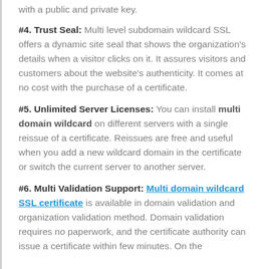#4. Trust Seal: Multi level subdomain wildcard SSL offers a dynamic site seal that shows the organization's details when a visitor clicks on it. It assures visitors and customers about the website's authenticity. It comes at no cost with the purchase of a certificate.
#5. Unlimited Server Licenses: You can install multi domain wildcard on different servers with a single reissue of a certificate. Reissues are free and useful when you add a new wildcard domain in the certificate or switch the current server to another server.
#6. Multi Validation Support: Multi domain wildcard SSL certificate is available in domain validation and organization validation method. Domain validation requires no paperwork, and the certificate authority can issue a certificate within few minutes. On the